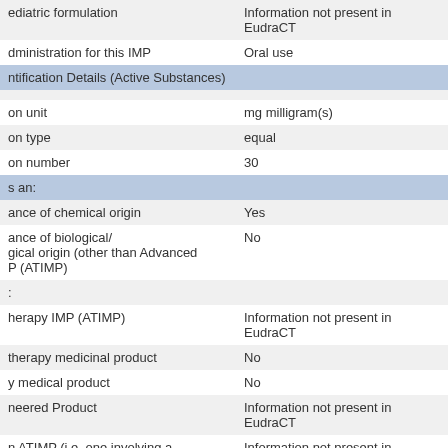| Field | Value |
| --- | --- |
| ediatric formulation | Information not present in EudraCT |
| Administration for this IMP | Oral use |
| ntification Details (Active Substances) |  |
| on unit | mg milligram(s) |
| on type | equal |
| on number | 30 |
| s an: |  |
| ance of chemical origin | Yes |
| ance of biological/
igical origin (other than Advanced
P (ATIMP) | No |
| : |  |
| herapy IMP (ATIMP) | Information not present in EudraCT |
|  therapy medicinal product | No |
| y medical product | No |
| neered Product | Information not present in EudraCT |
| n ATIMP (i.e. one involving a
ce) | Information not present in EudraCT |